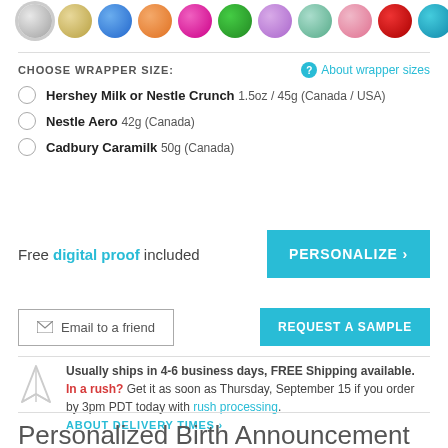[Figure (other): Row of color swatches: silver (selected), gold, blue, orange, magenta, green, lavender, mint, pink, red, teal]
CHOOSE WRAPPER SIZE:
Hershey Milk or Nestle Crunch 1.5oz / 45g (Canada / USA)
Nestle Aero 42g (Canada)
Cadbury Caramilk 50g (Canada)
Free digital proof included
PERSONALIZE >
Email to a friend
REQUEST A SAMPLE
Usually ships in 4-6 business days, FREE Shipping available. In a rush? Get it as soon as Thursday, September 15 if you order by 3pm PDT today with rush processing.
ABOUT DELIVERY TIMES >
Personalized Birth Announcement Hello Baby Candy Wrappers